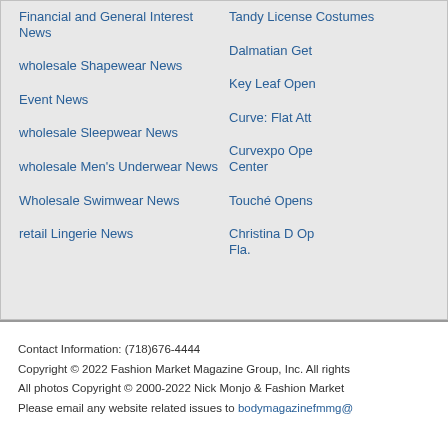Financial and General Interest News
wholesale Shapewear News
Event News
wholesale Sleepwear News
wholesale Men's Underwear News
Wholesale Swimwear News
retail Lingerie News
Tandy License Costumes
Dalmatian Get
Key Leaf Open
Curve: Flat Att
Curvexpo Ope Center
Touché Opens
Christina D Op Fla.
Contact Information: (718)676-4444
Copyright © 2022 Fashion Market Magazine Group, Inc. All rights
All photos Copyright © 2000-2022 Nick Monjo & Fashion Market
Please email any website related issues to bodymagazinefmmg@